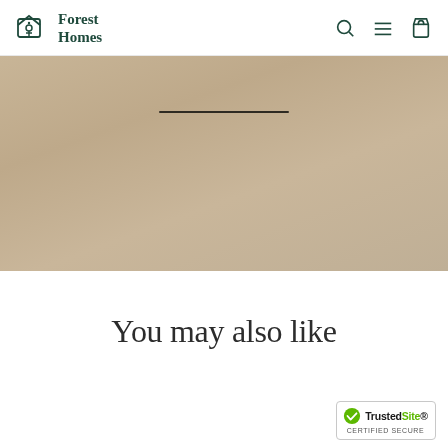Forest Homes
[Figure (photo): Product image area with tan/beige gradient background and a dark horizontal line element, suggesting a furniture or home decor product display]
You may also like
[Figure (logo): TrustedSite Certified Secure badge with green checkmark]